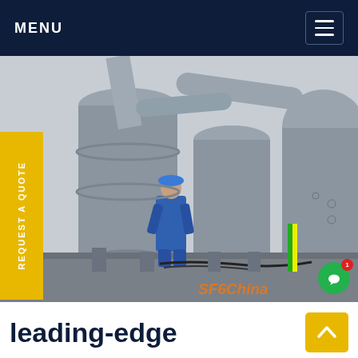MENU
[Figure (photo): A worker in blue coveralls and blue hard hat inspecting large grey industrial SF6 gas-insulated electrical equipment/transformers outdoors. Multiple large cylindrical grey pressure vessels and pipes visible. SF6China watermark in orange in lower right corner.]
REQUEST A QUOTE
leading-edge